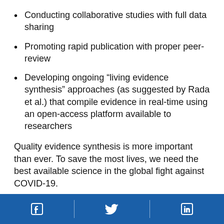Conducting collaborative studies with full data sharing
Promoting rapid publication with proper peer-review
Developing ongoing “living evidence synthesis” approaches (as suggested by Rada et al.) that compile evidence in real-time using an open-access platform available to researchers
Quality evidence synthesis is more important than ever. To save the most lives, we need the best available science in the global fight against COVID-19.
May 1, 2020 by Caitlin G. Allen, W. David Dotson, Scott Bowen, Muin J. Khoury, Office of Genomics and Precision Public Health, Centers for Disease Control and Prevention,
[Figure (infographic): Blue footer bar with Facebook, Twitter, and LinkedIn social media icons separated by vertical dividers]